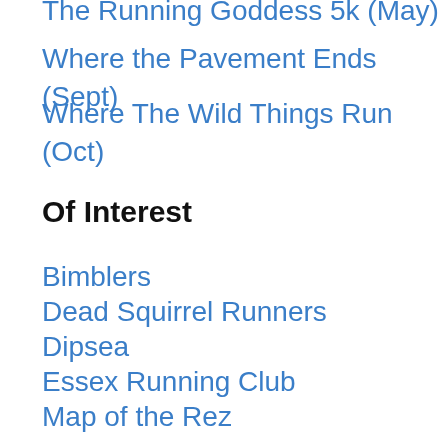The Running Goddess 5k (May)
Where the Pavement Ends (Sept)
Where The Wild Things Run (Oct)
Of Interest
Bimblers
Dead Squirrel Runners
Dipsea
Essex Running Club
Map of the Rez
Mt Kisco 5k (Sept)
Other Local Races